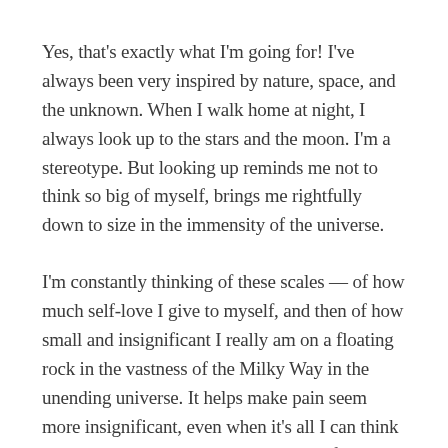Yes, that's exactly what I'm going for! I've always been very inspired by nature, space, and the unknown. When I walk home at night, I always look up to the stars and the moon. I'm a stereotype. But looking up reminds me not to think so big of myself, brings me rightfully down to size in the immensity of the universe.
I'm constantly thinking of these scales — of how much self-love I give to myself, and then of how small and insignificant I really am on a floating rock in the vastness of the Milky Way in the unending universe. It helps make pain seem more insignificant, even when it's all I can think about. I try to share this through both of my poetry collections.
I read about space, science, technology, and more in my